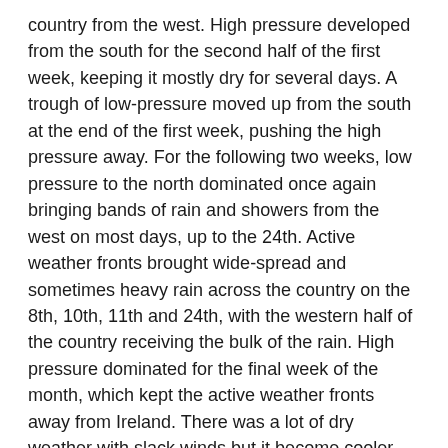country from the west. High pressure developed from the south for the second half of the first week, keeping it mostly dry for several days. A trough of low-pressure moved up from the south at the end of the first week, pushing the high pressure away. For the following two weeks, low pressure to the north dominated once again bringing bands of rain and showers from the west on most days, up to the 24th. Active weather fronts brought wide-spread and sometimes heavy rain across the country on the 8th, 10th, 11th and 24th, with the western half of the country receiving the bulk of the rain. High pressure dominated for the final week of the month, which kept the active weather fronts away from Ireland. There was a lot of dry weather with slack winds but it become cooler with frost and fog more of a feature. Some weak weather fronts traversed the country at times, which brought cloudy, murky conditions.
Rainfall: Above average in most places, highest in the